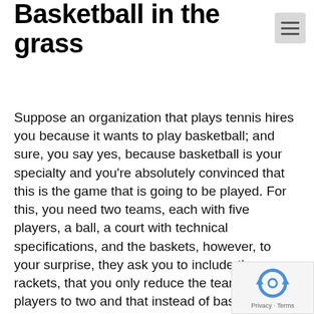Basketball in the grass
Suppose an organization that plays tennis hires you because it wants to play basketball; and sure, you say yes, because basketball is your specialty and you’re absolutely convinced that this is the game that is going to be played. For this, you need two teams, each with five players, a ball, a court with technical specifications, and the baskets, however, to your surprise, they ask you to include the rackets, that you only reduce the teams from 5 players to two and that instead of baskets you a net.